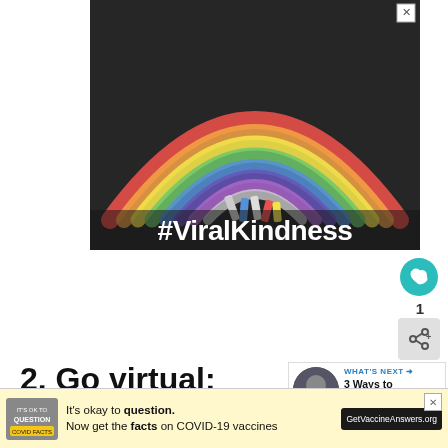[Figure (photo): A chalk-drawn rainbow on asphalt with chalk sticks scattered at the base, with the text #ViralKindness written in white bold letters at the bottom of the image. A small close/X button in the top right corner.]
2. Go virtual:
If there is a way to do your business virtually make it happen. I run a tour company, which generally requires in-person guests.
[Figure (infographic): WHAT'S NEXT banner with thumbnail image and text '3 Ways to Check on Yo...']
[Figure (infographic): Bottom ad bar: It's okay to question. Now get the facts on COVID-19 vaccines. GetVaccineAnswers.org]